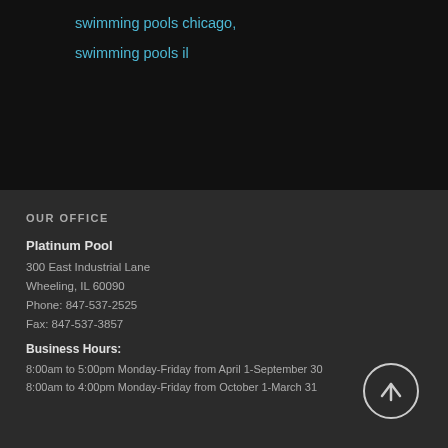swimming pools chicago,
swimming pools il
OUR OFFICE
Platinum Pool
300 East Industrial Lane
Wheeling, IL 60090
Phone: 847-537-2525
Fax: 847-537-3857
Business Hours:
8:00am to 5:00pm Monday-Friday from April 1-September 30
8:00am to 4:00pm Monday-Friday from October 1-March 31